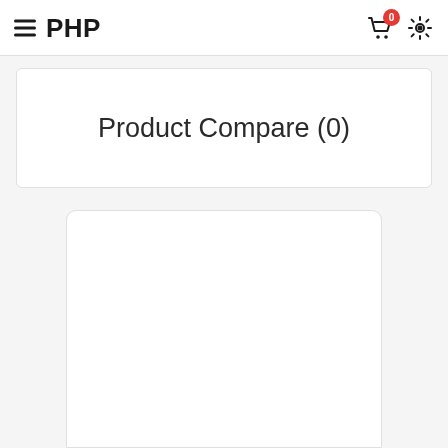PHP
Product Compare (0)
[Figure (screenshot): Empty white content panel below the product compare heading]